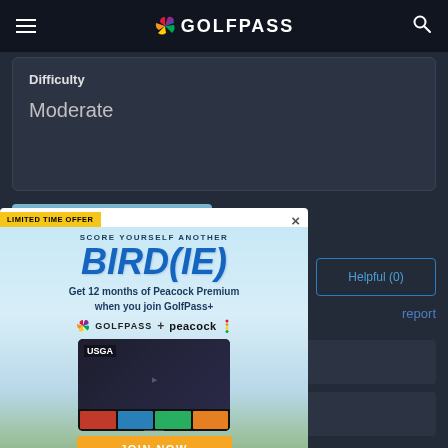GolfPass
Difficulty
Moderate
[Figure (photo): Golf course landscape thumbnail with blue sky and green trees]
[Figure (infographic): GolfPass promotional ad overlay: LIMITED TIME OFFER - SCORE YOURSELF ANOTHER BIRD(IE) - Get 12 months of Peacock Premium when you join GolfPass+ - GOLFPASS + peacock logos - TV screen showing USGA content - JOIN NOW button - fine print]
Helpful (0)
report